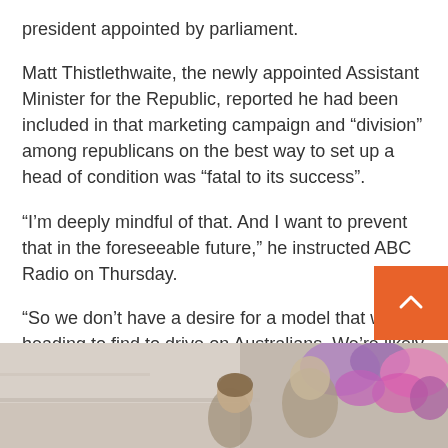president appointed by parliament.
Matt Thistlethwaite, the newly appointed Assistant Minister for the Republic, reported he had been included in that marketing campaign and “division” among republicans on the best way to set up a head of condition was “fatal to its success”.
“I’m deeply mindful of that. And I want to prevent that in the foreseeable future,” he instructed ABC Radio on Thursday.
“So we don’t have a desire for a model that we’re heading to find to drive on Australians. We’re likely to acquire this slowly and gradually and methodically”
[Figure (photo): Partial photo of people, possibly in a classroom or community setting with colourful artwork in the background.]